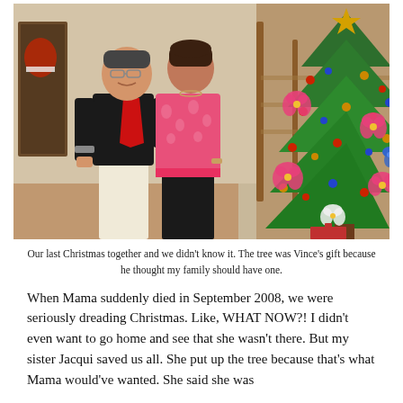[Figure (photo): A couple standing indoors next to a decorated Christmas tree. The man on the left wears a black shirt with a red scarf and white pants. The woman on the right wears a pink floral top. A decorated Christmas tree with pink flowers, ornaments, and a gold star topper is visible on the right. There is a staircase in the background.]
Our last Christmas together and we didn't know it. The tree was Vince's gift because he thought my family should have one.
When Mama suddenly died in September 2008, we were seriously dreading Christmas. Like, WHAT NOW?! I didn't even want to go home and see that she wasn't there. But my sister Jacqui saved us all. She put up the tree because that's what Mama would've wanted. She said she was